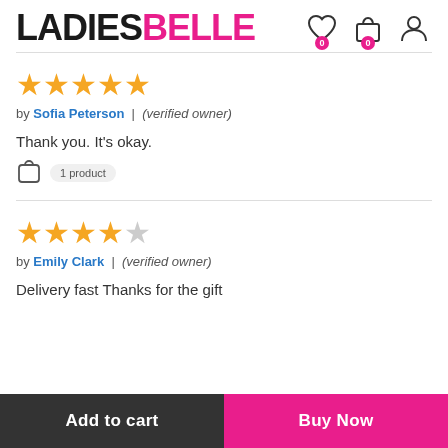LADIESBELLE
[Figure (illustration): Star rating: 5 out of 5 gold stars]
by Sofia Peterson | (verified owner)
Thank you. It's okay.
1 product
[Figure (illustration): Star rating: 4 out of 5 stars (4 gold, 1 grey)]
by Emily Clark | (verified owner)
Delivery fast Thanks for the gift
Add to cart | Buy Now